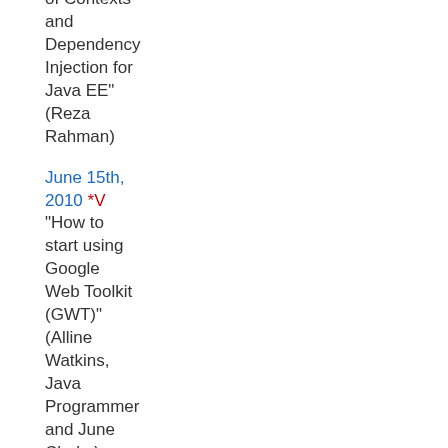of Contexts and Dependency Injection for Java EE" (Reza Rahman)
June 15th, 2010 *V "How to start using Google Web Toolkit (GWT)" (Alline Watkins, Java Programmer and June Clarke)
May 18th, 2010 "The Whats and